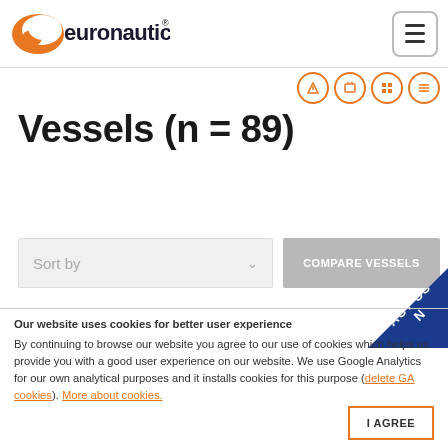euronautic [logo] [hamburger menu]
[Figure (logo): Euronautic logo with orange swoosh and text 'euronautic']
Vessels (n = 89)
Sort by [dropdown] COMPARE VESSELS
Our website uses cookies for better user experience
By continuing to browse our website you agree to our use of cookies which helps us provide you with a good user experience on our website. We use Google Analytics for our own analytical purposes and it installs cookies for this purpose (delete GA cookies). More about cookies.
I AGREE